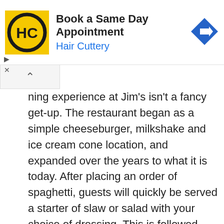[Figure (logo): Hair Cuttery advertisement banner with HC logo, text 'Book a Same Day Appointment' and 'Hair Cuttery', and a blue navigation arrow icon]
ning experience at Jim's isn't a fancy get-up. The restaurant began as a simple cheeseburger, milkshake and ice cream cone location, and expanded over the years to what it is today. After placing an order of spaghetti, guests will quickly be served a starter of slaw or salad with your choice of dressing. This is followed quickly with your plate of spaghetti and dinner rolls.